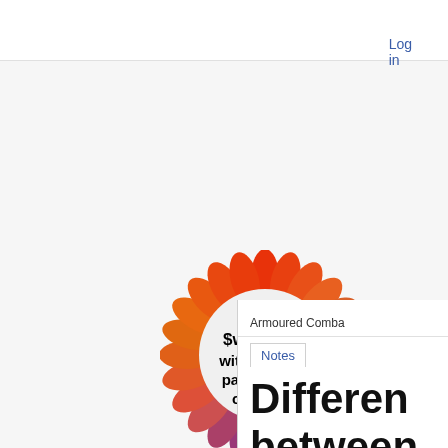Log in
[Figure (logo): MediaWiki placeholder logo: a colorful starburst/flower shape with text 'Set $wgLogos with the URL path to your own logo image']
Armoured Comba
Notes
Differen between revisions